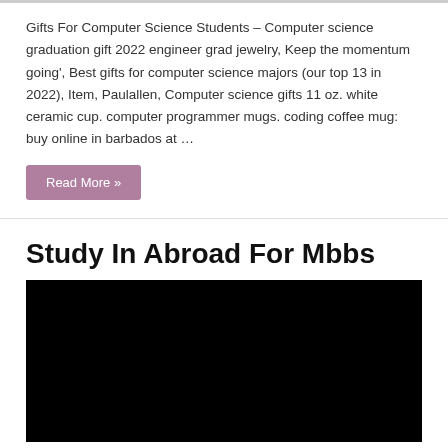Gifts For Computer Science Students – Computer science graduation gift 2022 engineer grad jewelry, Keep the momentum going', Best gifts for computer science majors (our top 13 in 2022), Item, Paulallen, Computer science gifts 11 oz. white ceramic cup. computer programmer mugs. coding coffee mug: buy online in barbados at …
Read More »
Study In Abroad For Mbbs
[Figure (photo): Black image placeholder for Study In Abroad For Mbbs article]